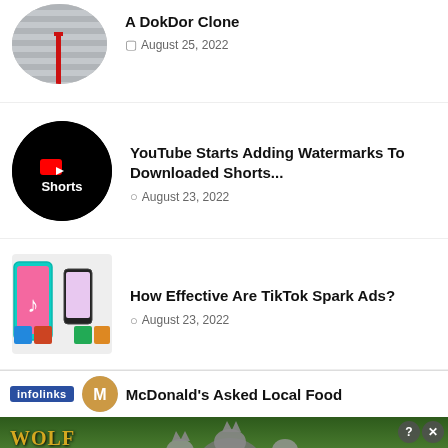[Figure (photo): Circular thumbnail of building siding with red pole]
A DokDor Clone
August 25, 2022
[Figure (logo): YouTube Shorts logo - black circle with red play button and Shorts text]
YouTube Starts Adding Watermarks To Downloaded Shorts...
August 23, 2022
[Figure (photo): TikTok Spark Ads - phones displaying TikTok interface]
How Effective Are TikTok Spark Ads?
August 23, 2022
infolinks
McDonald's Asked Local Food
[Figure (photo): Wolf Game advertisement banner - THE HUNT IS ON! with wolves in field]